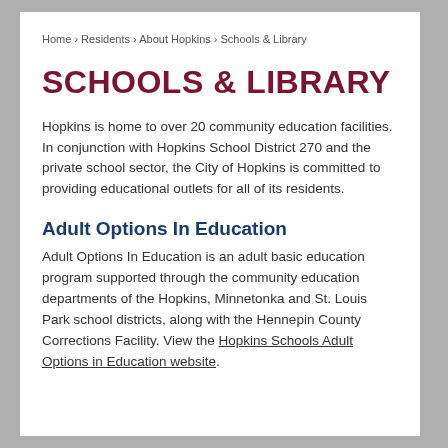Home › Residents › About Hopkins › Schools & Library
SCHOOLS & LIBRARY
Hopkins is home to over 20 community education facilities. In conjunction with Hopkins School District 270 and the private school sector, the City of Hopkins is committed to providing educational outlets for all of its residents.
Adult Options In Education
Adult Options In Education is an adult basic education program supported through the community education departments of the Hopkins, Minnetonka and St. Louis Park school districts, along with the Hennepin County Corrections Facility. View the Hopkins Schools Adult Options in Education website.